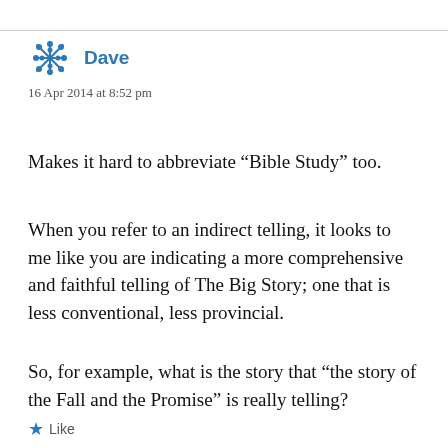[Figure (illustration): Snowflake/asterisk avatar icon in blue]
Dave
16 Apr 2014 at 8:52 pm
Makes it hard to abbreviate “Bible Study” too.
When you refer to an indirect telling, it looks to me like you are indicating a more comprehensive and faithful telling of The Big Story; one that is less conventional, less provincial.
So, for example, what is the story that “the story of the Fall and the Promise” is really telling?
Like